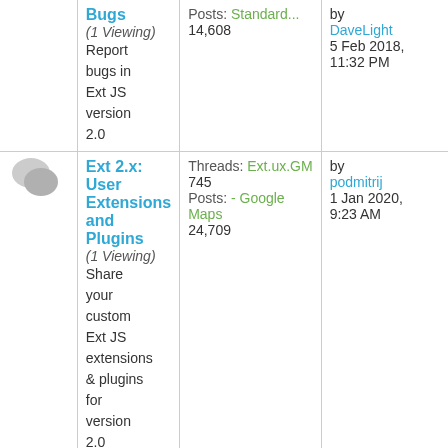| Icon | Forum | Stats | Last Post |
| --- | --- | --- | --- |
|  | Bugs (1 Viewing) Report bugs in Ext JS version 2.0 | Posts: 14,608 | Standard... by DaveLight 5 Feb 2018, 11:32 PM |
| [icon] | Ext 2.x: User Extensions and Plugins (1 Viewing) Share your custom Ext JS extensions & plugins for version 2.0 | Threads: 745 Posts: 24,709 | Ext.ux.GM - Google Maps by podmitrij 1 Jan 2020, 9:23 AM |